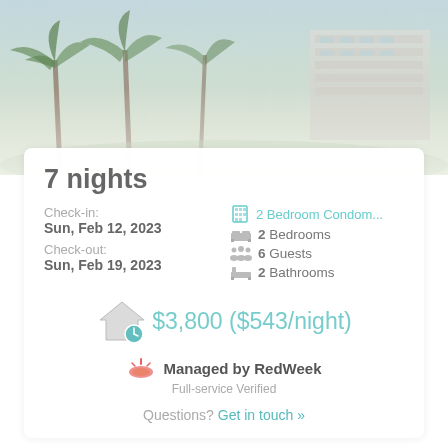[Figure (photo): Aerial/exterior photo of a tropical resort or condominium with palm trees and a multi-story building in the background]
7 nights
Check-in:
Sun, Feb 12, 2023
Check-out:
Sun, Feb 19, 2023
2 Bedroom Condom...
2 Bedrooms
6 Guests
2 Bathrooms
$3,800 ($543/night)
Managed by RedWeek
Full-service Verified
Questions? Get in touch »